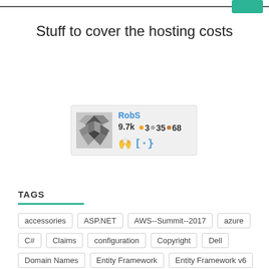Stuff to cover the hosting costs
[Figure (other): User profile card for RobS showing reputation 9.7k, badges: gold 3, silver 35, bronze 68, with Stack Overflow and code icons]
TAGS
accessories
ASP.NET
AWS--Summit--2017
azure
C#
Claims
configuration
Copyright
Dell
Domain Names
Entity Framework
Entity Framework v6
IIS
Installation
iPhone